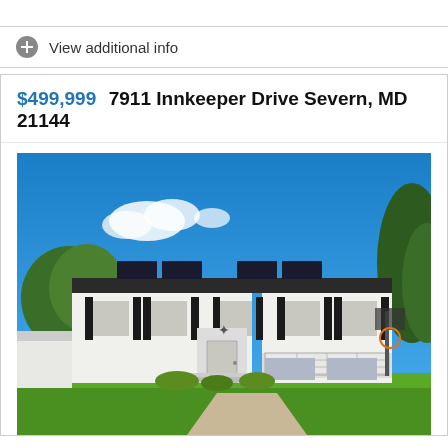View additional info
$499,999  7911 Innkeeper Drive Severn, MD 21144
[Figure (photo): Exterior photo of a two-story white colonial-style house with black shutters, solar panels on the roof, green lawn in front, and a basketball hoop visible on the right side. Blue sky with a few clouds in the background.]